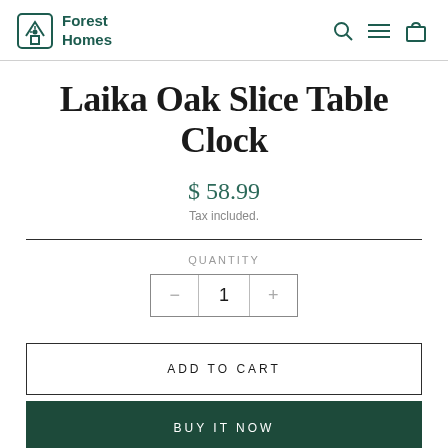Forest Homes
Laika Oak Slice Table Clock
$ 58.99
Tax included.
QUANTITY
− 1 +
ADD TO CART
BUY IT NOW